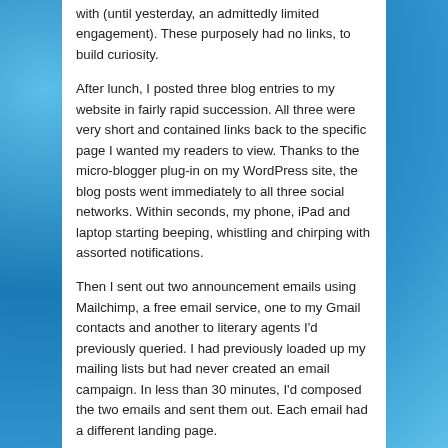with (until yesterday, an admittedly limited engagement). These purposely had no links, to build curiosity.
After lunch, I posted three blog entries to my website in fairly rapid succession. All three were very short and contained links back to the specific page I wanted my readers to view. Thanks to the micro-blogger plug-in on my WordPress site, the blog posts went immediately to all three social networks. Within seconds, my phone, iPad and laptop starting beeping, whistling and chirping with assorted notifications.
Then I sent out two announcement emails using Mailchimp, a free email service, one to my Gmail contacts and another to literary agents I'd previously queried. I had previously loaded up my mailing lists but had never created an email campaign. In less than 30 minutes, I'd composed the two emails and sent them out. Each email had a different landing page.
To finish my seat of the pants marketing blitz, I spent the whopping sum of $6.99 to promote on Facebook the